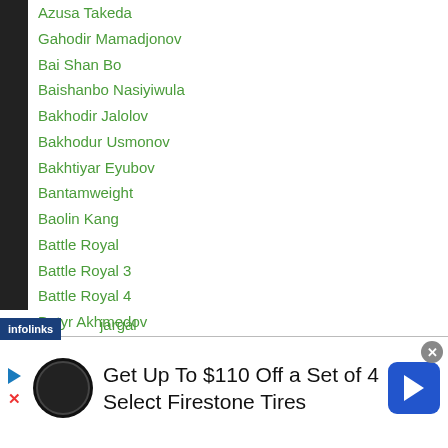Azusa Takeda
Gahodir Mamadjonov
Bai Shan Bo
Baishanbo Nasiyiwula
Bakhodir Jalolov
Bakhodur Usmonov
Bakhtiyar Eyubov
Bantamweight
Baolin Kang
Battle Royal
Battle Royal 3
Battle Royal 4
Batyr Akhmedov
Batyrzhan Jukembayev
Batzorig Batjargal
Batzorig Batjargal
Get Up To $110 Off a Set of 4 Select Firestone Tires